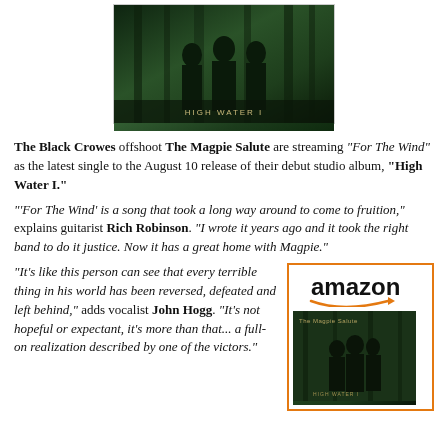[Figure (photo): Album cover for 'High Water I' showing silhouettes of band members against a dark green forest background with the text 'HIGH WATER I' at the bottom]
The Black Crowes offshoot The Magpie Salute are streaming "For The Wind" as the latest single to the August 10 release of their debut studio album, "High Water I."
'"For The Wind' is a song that took a long way around to come to fruition," explains guitarist Rich Robinson. "I wrote it years ago and it took the right band to do it justice. Now it has a great home with Magpie."
[Figure (logo): Amazon logo with orange smile/arrow graphic]
[Figure (photo): Thumbnail of The Magpie Salute High Water I album cover]
"It's like this person can see that every terrible thing in his world has been reversed, defeated and left behind," adds vocalist John Hogg. "It's not hopeful or expectant, it's more than that... a full-on realization described by one of the victors."